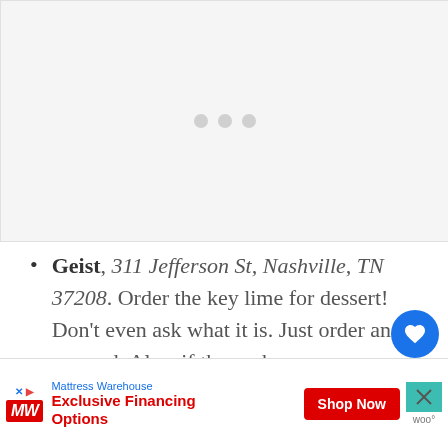[Figure (other): Loading placeholder with three grey dots centered on a light grey background]
Geist, 311 Jefferson St, Nashville, TN 37208. Order the key lime for dessert! Don't even ask what it is. Just order and be amazed. Also, if the pork
[Figure (other): Advertisement banner: Mattress Warehouse - Exclusive Financing Options - Shop Now button]